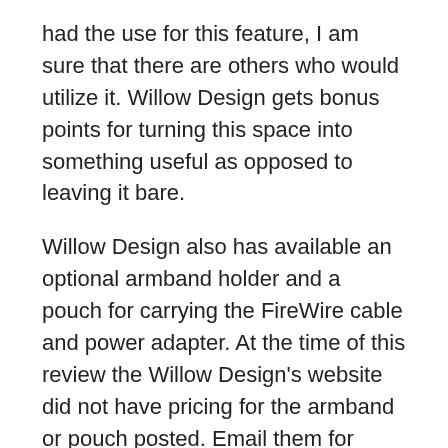had the use for this feature, I am sure that there are others who would utilize it. Willow Design gets bonus points for turning this space into something useful as opposed to leaving it bare.
Willow Design also has available an optional armband holder and a pouch for carrying the FireWire cable and power adapter. At the time of this review the Willow Design's website did not have pricing for the armband or pouch posted. Email them for more info.
Bottomline
While there were several upsides to this case, it does not rate too highly in relation to other cases that I have used. If I weren't before, I am now very opposed to